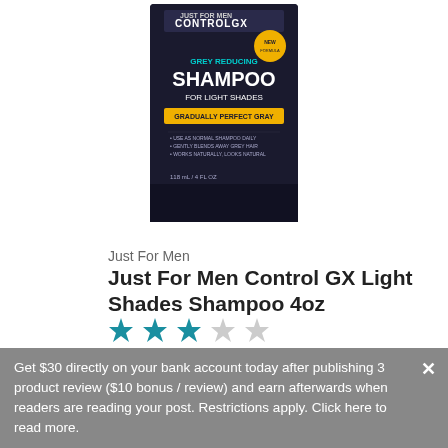[Figure (photo): Product box of Just For Men Control GX Grey Reducing Shampoo for Light Shades, dark packaging with yellow and teal text]
Just For Men
Just For Men Control GX Light Shades Shampoo 4oz
[Figure (other): Star rating: 2.5 out of 5 stars — 3 filled teal stars, 2 grey outline stars]
6 reviews
Starting from:
$8.99
[Figure (logo): Target retailer logo with red bullseye circle and TARGET text in red]
[Figure (other): Carousel navigation dots — 10 dots, first one filled blue, rest grey]
Get $30 directly on your bank account today after publishing 3 product review ($10 bonus / review) and earn afterwards when readers are reading your post. Restrictions apply. Click here to read more.